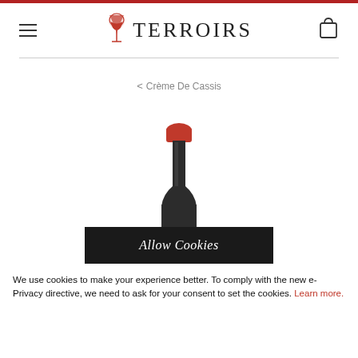TERROIRS
< Crème De Cassis
[Figure (photo): Top portion of a dark wine/liqueur bottle with a red wax cap, bottle neck visible]
Allow Cookies
We use cookies to make your experience better. To comply with the new e-Privacy directive, we need to ask for your consent to set the cookies. Learn more.